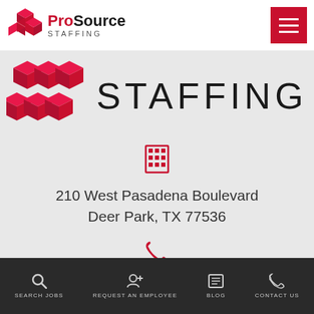[Figure (logo): ProSource Staffing logo with red cube icons and 'ProSource STAFFING' text]
[Figure (logo): Large ProSource Staffing logo: red cube icons with large 'STAFFING' text]
[Figure (other): Red building/office icon]
210 West Pasadena Boulevard
Deer Park, TX 77536
[Figure (other): Red phone icon]
281-478-0827
SEARCH JOBS  REQUEST AN EMPLOYEE  BLOG  CONTACT US